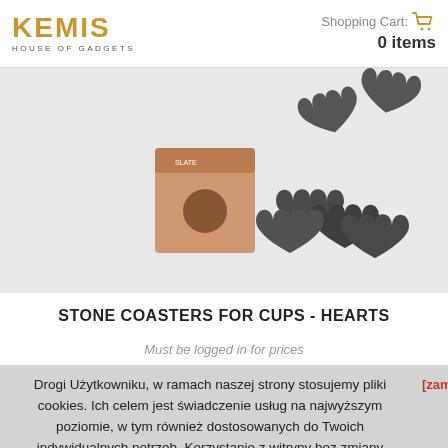KEMIS HOUSE OF GADGETS — Shopping Cart: 0 items
[Figure (photo): Product photo of stone coasters for cups in heart shapes, dark grey slate stones and a kraft paper box]
STONE COASTERS FOR CUPS - HEARTS
Must be logged in for prices
Drogi Użytkowniku, w ramach naszej strony stosujemy pliki cookies. Ich celem jest świadczenie usług na najwyższym poziomie, w tym również dostosowanych do Twoich indywidualnych potrzeb. Korzystanie z witryny bez zmiany ustawień przeglądarki dotyczących cookies oznacza, że będą one umieszczane w Twoim urządzeniu. W każdej chwili możesz dokonać zmiany ustawień przeglądarki dotyczących cookies.
[zamk